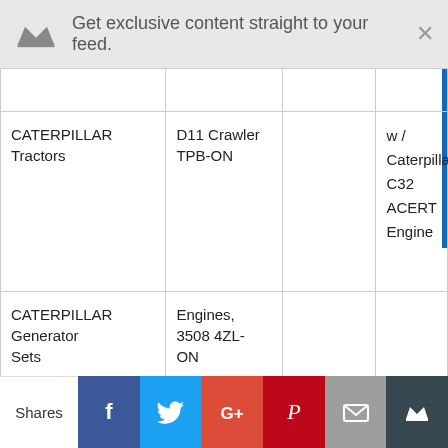Get exclusive content straight to your feed.
|  |  |  |  |
| --- | --- | --- | --- |
| CATERPILLAR Tractors | D11 Crawler TPB-ON |  | w / Caterpillar C32 ACERT Engine |
| CATERPILLAR Generator Sets | Engines, 3508 4ZL-ON |  |  |
| CATERPILLAR Generator | Engines, 3508 5TL- |  |  |
Shares | Facebook | Twitter | Google+ | Pinterest | Mail | Crown